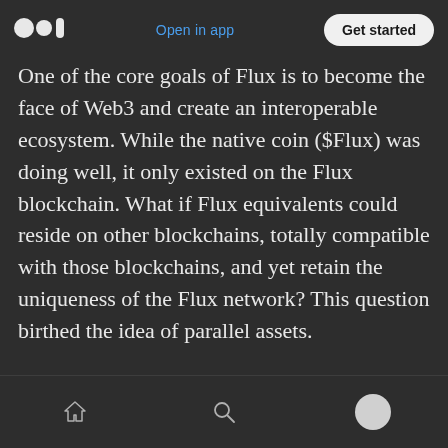Medium logo | Open in app | Get started
One of the core goals of Flux is to become the face of Web3 and create an interoperable ecosystem. While the native coin ($Flux) was doing well, it only existed on the Flux blockchain. What if Flux equivalents could reside on other blockchains, totally compatible with those blockchains, and yet retain the uniqueness of the Flux network? This question birthed the idea of parallel assets.

But then, what exactly is a parallel asset?

Parallel assets are Flux tokens ‘living’ on other
Home | Search | Profile